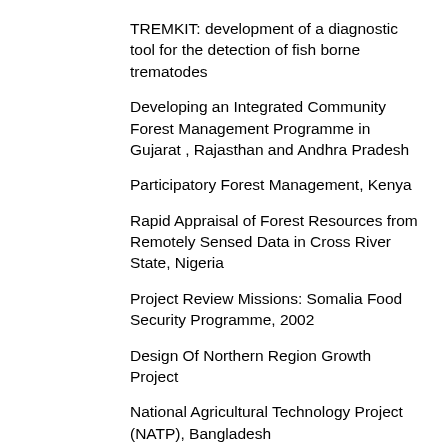TREMKIT: development of a diagnostic tool for the detection of fish borne trematodes
Developing an Integrated Community Forest Management Programme in Gujarat , Rajasthan and Andhra Pradesh
Participatory Forest Management, Kenya
Rapid Appraisal of Forest Resources from Remotely Sensed Data in Cross River State, Nigeria
Project Review Missions: Somalia Food Security Programme, 2002
Design Of Northern Region Growth Project
National Agricultural Technology Project (NATP), Bangladesh
Master Plan for Developing New Water Sources for Nairobi City and Satellite Towns: Environmental Assessment